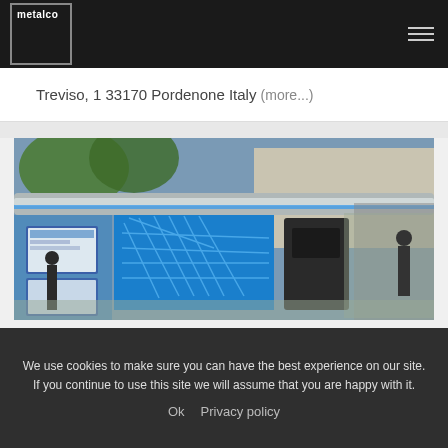metalco
Treviso, 1 33170 Pordenone Italy (more...)
[Figure (photo): Outdoor urban kiosk/bus shelter with blue decorative metalwork panels, digital display screens, and a canopy structure on a city street with trees and buildings in background]
We use cookies to make sure you can have the best experience on our site. If you continue to use this site we will assume that you are happy with it.
Ok   Privacy policy